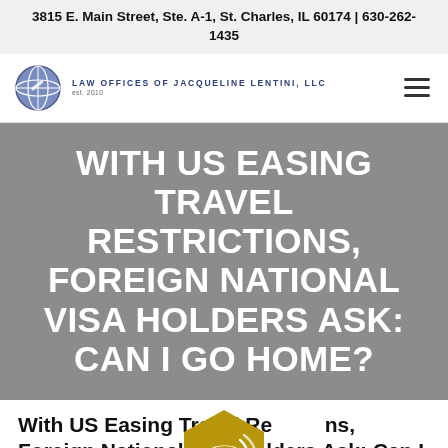3815 E. Main Street, Ste. A-1, St. Charles, IL 60174 | 630-262-1435
[Figure (logo): Law Offices of Jacqueline Lentini, LLC logo with blue globe icon, established 2010]
WITH US EASING TRAVEL RESTRICTIONS, FOREIGN NATIONAL VISA HOLDERS ASK: CAN I GO HOME?
[Figure (other): Gold hexagon shaped phone call button icon]
With US Easing Travel Restrictions, Foreign National Visa Holders Ask: Can I Go Home?